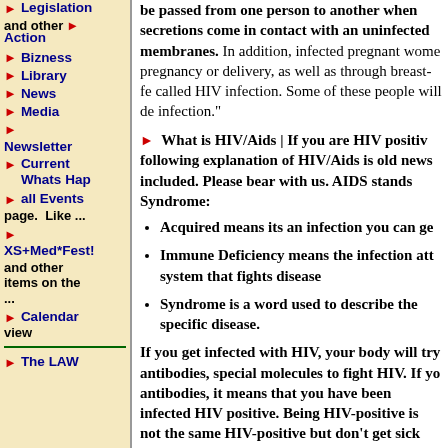Legislation
and other Action
Bizness
Library
News
Media
Newsletter
Current Whats Hap
all Events page. Like ...
XS+Med*Fest! and other items on the ...
Calendar view
The LAW
be passed from one person to another when secretions come in contact with an uninfected membranes. In addition, infected pregnant women pregnancy or delivery, as well as through breast-fe called HIV infection. Some of these people will de infection."
What is HIV/Aids | If you are HIV positive following explanation of HIV/Aids is old news included. Please bear with us. AIDS stands Syndrome:
Acquired means its an infection you can ge
Immune Deficiency means the infection att system that fights disease
Syndrome is a word used to describe the specific disease.
If you get infected with HIV, your body will try antibodies, special molecules to fight HIV. If yo antibodies, it means that you have been infected HIV positive. Being HIV-positive is not the same HIV-positive but don't get sick for many years.